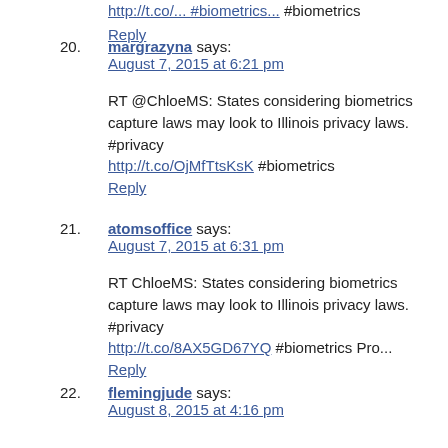http://... #biometrics... [truncated link] Reply
20. margrazyna says: August 7, 2015 at 6:21 pm
RT @ChloeMS: States considering biometrics capture laws may look to Illinois privacy laws. #privacy http://t.co/OjMfTtsKsK #biometrics
Reply
21. atomsoffice says: August 7, 2015 at 6:31 pm
RT ChloeMS: States considering biometrics capture laws may look to Illinois privacy laws. #privacy http://t.co/8AX5GD67YQ #biometrics Pro...
Reply
22. flemingjude says: August 8, 2015 at 4:16 pm